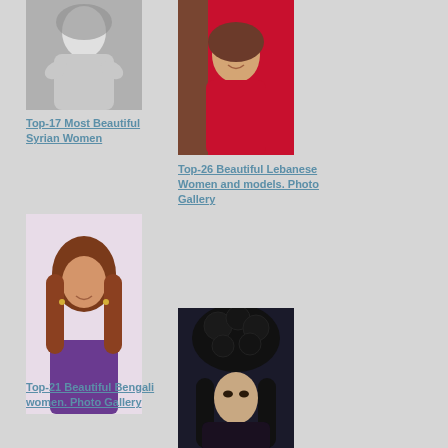[Figure (photo): Black and white photo of a woman with a headscarf, hands raised near face]
[Figure (photo): Color photo of a smiling woman in red top, Jordan flag in background]
Top-17 Most Beautiful Syrian Women
Top-26 Beautiful Lebanese Women and models. Photo Gallery
[Figure (photo): Color photo of a woman with auburn hair in purple dress]
[Figure (photo): Dark artistic photo of a woman with large black floral headpiece]
Top-21 Beautiful Bengali women. Photo Gallery